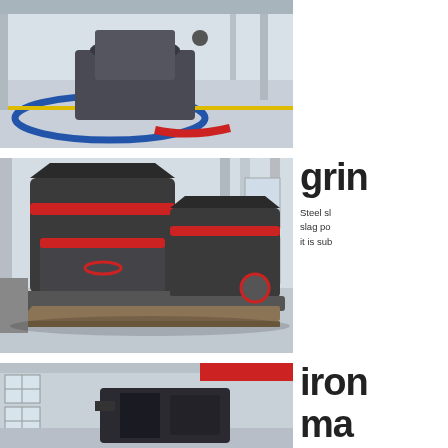[Figure (photo): Industrial machine hall with colorful circular floor markings (blue, red, yellow) and large equipment in the background, indoor factory setting.]
[Figure (photo): Two large black grinding mills with red accent bands on pallets inside a bright industrial warehouse facility.]
grin
Steel sl slag po it is sub
[Figure (photo): Interior of industrial building showing machinery, windows, and red conveyor or structural element in foreground.]
iron
ma